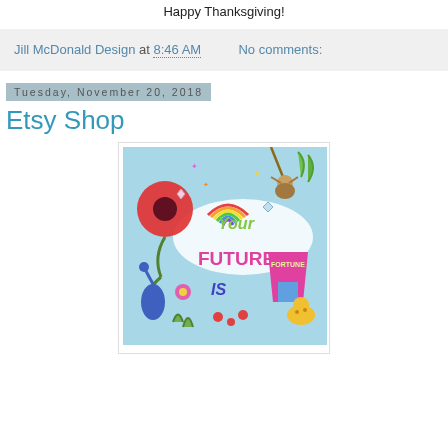Happy Thanksgiving!
Jill McDonald Design at 8:46 AM    No comments:
Tuesday, November 20, 2018
Etsy Shop
[Figure (illustration): Colorful whimsical illustration with text 'Your Future Is' featuring a sloth hanging from a branch, a large red poppy flower, a rainbow, a blue heron, a yellow leopard, a pink fortune teller tent labeled FORTUNE, and various flowers and decorative elements on a light blue background.]